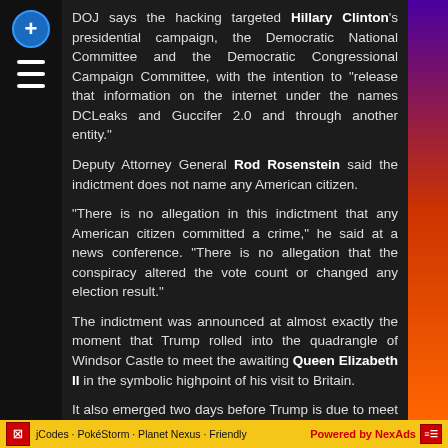DOJ says the hacking targeted Hillary Clinton's presidential campaign, the Democratic National Committee and the Democratic Congressional Campaign Committee, with the intention to "release that information on the internet under the names DCLeaks and Guccifer 2.0 and through another entity."
Deputy Attorney General Rod Rosenstein said the indictment does not name any American citizen.
"There is no allegation in this indictment that any American citizen committed a crime," he said at a news conference. "There is no allegation that the conspiracy altered the vote count or changed any election result."
The indictment was announced at almost exactly the moment that Trump rolled into the quadrangle of Windsor Castle to meet the awaiting Queen Elizabeth II in the symbolic highpoint of his visit to Britain.
It also emerged two days before Trump is due to meet Russian President Vladimir Putin — who has denied election meddling — in Helsinki for a summit that includes a one-on-one meeting with only interpreters present.
The unfolding drama on both sides of the Atlantic reflected how Trump's presidency has been overshadowed by the Mueller probe from its earliest moments and how the investigation frequently tramples the President's attempts to carve out favorable
jCodes · PokéStorm · Planet Nexus · Friendly   Powered by NexAds